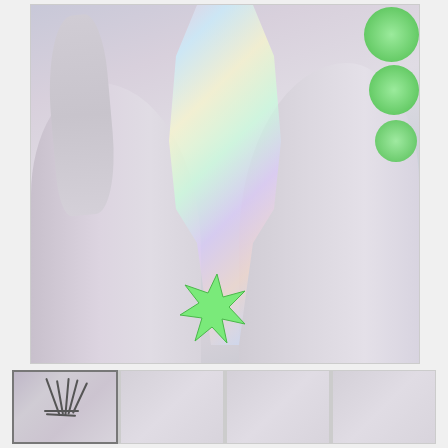[Figure (photo): Main product photo showing a person wearing a holographic/iridescent white swimsuit or bodysuit. The image shows the torso, hips and upper thighs. Decorative green circle and star graphic overlays are visible on the right side and bottom center of the image.]
[Figure (photo): Thumbnail strip showing 4 product photos. The first thumbnail (highlighted with border) shows the same model wearing a strappy bikini top with holographic bottom. The remaining 3 thumbnails show additional views, mostly light/faded.]